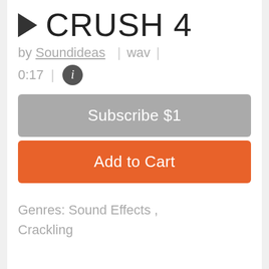▶ CRUSH 4
by Soundideas  |  wav  |
0:17  |  ℹ
Subscribe $1
Add to Cart
Genres: Sound Effects , Crackling